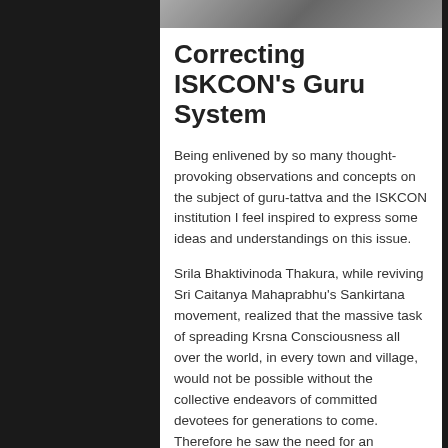[Figure (photo): A photo strip at the top of the content area, partially visible, appears to show a person or deity image.]
Correcting ISKCON's Guru System
Being enlivened by so many thought-provoking observations and concepts on the subject of guru-tattva and the ISKCON institution I feel inspired to express some ideas and understandings on this issue.
Srila Bhaktivinoda Thakura, while reviving Sri Caitanya Mahaprabhu's Sankirtana movement, realized that the massive task of spreading Krsna Consciousness all over the world, in every town and village, would not be possible without the collective endeavors of committed devotees for generations to come. Therefore he saw the need for an